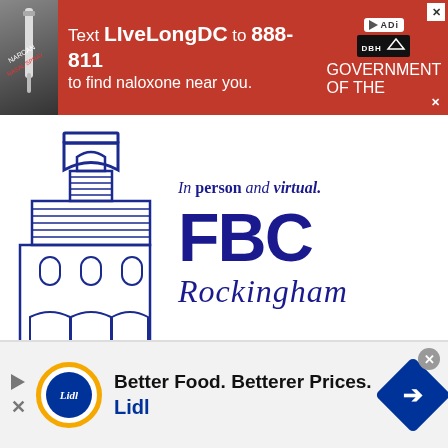[Figure (infographic): Red banner advertisement: Text LiveLongDC to 888-811 to find naloxone near you. Shows a syringe image on the left and DC Department of Behavioral Health logos on the right.]
[Figure (logo): FBC Rockingham church logo with blue architectural building illustration on the left, text 'In person and virtual.' above, large bold 'FBC' text, and cursive 'Rockingham' below.]
Mary Anne Meacham and Makaylan Nichols both received the FirstHealth Richmond Memorial Hospital Professional Nursing Award, which is presented
[Figure (infographic): Lidl grocery store advertisement: Better Food. Betterer Prices. Lidl. Shows Lidl circular logo, navigation play button and X button on left, and blue diamond arrow on right.]